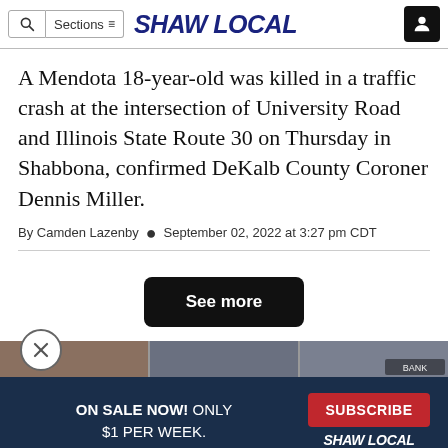Shaw Local — navigation header with search, Sections menu, logo, and user icon
A Mendota 18-year-old was killed in a traffic crash at the intersection of University Road and Illinois State Route 30 on Thursday in Shabbona, confirmed DeKalb County Coroner Dennis Miller.
By Camden Lazenby • September 02, 2022 at 3:27 pm CDT
[Figure (screenshot): See more button (dark/black pill button) and subscription banner overlay with close (X) button, ON SALE NOW! ONLY $1 PER WEEK. SUBSCRIBE, SHAW LOCAL branding on dark navy background, and partial image strip at bottom.]